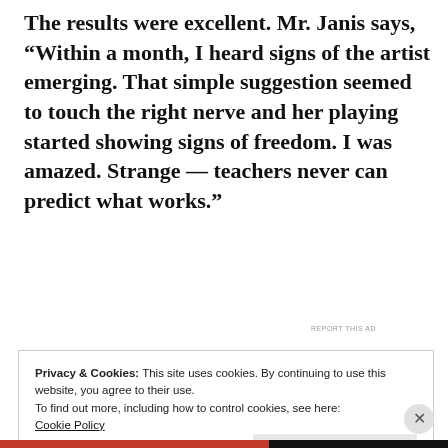The results were excellent. Mr. Janis says, “Within a month, I heard signs of the artist emerging. That simple suggestion seemed to touch the right nerve and her playing started showing signs of freedom. I was amazed. Strange — teachers never can predict what works.”
[Figure (other): Advertisement banner with text 'in less than a week' and a W logo on a beige background]
Privacy & Cookies: This site uses cookies. By continuing to use this website, you agree to their use.
To find out more, including how to control cookies, see here:
Cookie Policy